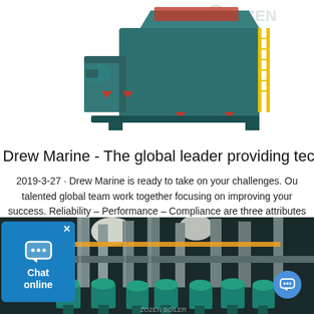[Figure (photo): Industrial coal/biomass boiler unit in teal/dark green color with yellow ladder, red accents, and Zozen brand logo. Rendered 3D product image on white background.]
Drew Marine - The global leader providing technica
2019-3-27 · Drew Marine is ready to take on your challenges. Ou talented global team work together focusing on improving your success. Reliability – Performance – Compliance are three attributes that have earned the trust of our customers.
[Figure (photo): Industrial facility interior with metallic pipes, teal pump motors, yellow pipes, and bright overhead lighting. Zozen boiler branding visible at bottom.]
[Figure (other): Chat online widget: blue box with chat bubble icon and 'Chat online' text, with X close button.]